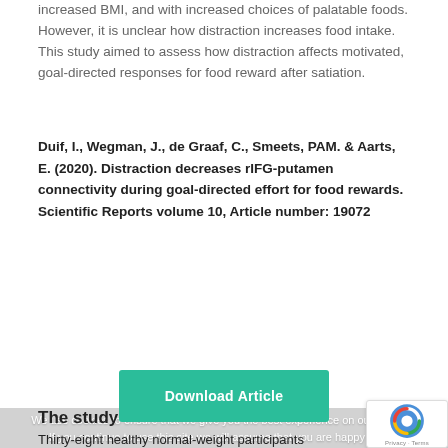increased BMI, and with increased choices of palatable foods. However, it is unclear how distraction increases food intake. This study aimed to assess how distraction affects motivated, goal-directed responses for food reward after satiation.
Duif, I., Wegman, J., de Graaf, C., Smeets, PAM. & Aarts, E. (2020). Distraction decreases rIFG-putamen connectivity during goal-directed effort for food rewards. Scientific Reports volume 10, Article number: 19072
[Figure (other): Green 'Download Article' button]
We use cookies to ensure that we give you the best experience on our website. If you continue to use this site we will assume that you are happy with it.
The study
Thirty-eight healthy normal-weight participants (28F; 10M) performed a distraction to decrease in attention to food (this...